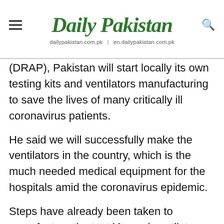Daily Pakistan — dailypakistan.com.pk | en.dailypakistan.com.pk
(DRAP), Pakistan will start locally its own testing kits and ventilators manufacturing to save the lives of many critically ill coronavirus patients.
He said we will successfully make the ventilators in the country, which is the much needed medical equipment for the hospitals amid the coronavirus epidemic.
Steps have already been taken to manufacture the test kits and ventilators locally, he added. Fawad Chaudhry added that earlier only test kits were made by China